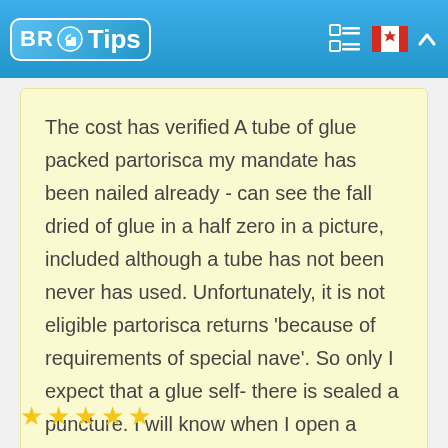BR Tips
The cost has verified A tube of glue packed partorisca my mandate has been nailed already - can see the fall dried of glue in a half zero in a picture, included although a tube has not been never has used. Unfortunately, it is not eligible partorisca returns 'because of requirements of special nave'. So only I expect that a glue self- there is sealed a puncture. I will know when I open a tube. Ossia The scarce unhappy experience with hailing of Amazon.